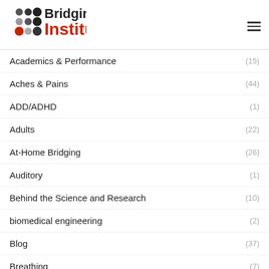Bridging Institute
Academics & Performance (15)
Aches & Pains (44)
ADD/ADHD (1)
Adults (22)
At-Home Bridging (26)
Auditory (1)
Behind the Science and Research (10)
biomedical engineering (2)
Blog (37)
Breathing (7)
Bridging Technique (118)